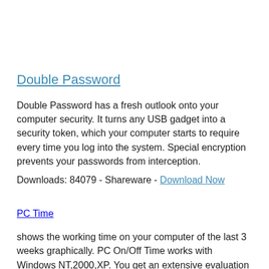Double Password
Double Password has a fresh outlook onto your computer security. It turns any USB gadget into a security token, which your computer starts to require every time you log into the system. Special encryption prevents your passwords from interception.
Downloads: 84079 - Shareware - Download Now
PC Time
shows the working time on your computer of the last 3 weeks graphically. PC On/Off Time works with Windows NT,2000,XP. You get an extensive evaluation of your working